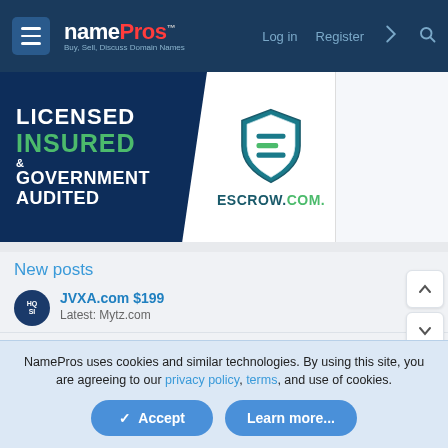namePros — Log in | Register
[Figure (logo): Escrow.com advertisement banner — Licensed, Insured & Government Audited with Escrow.com shield logo]
New posts
JVXA.com $199
Latest: Mytz.com
virtualAI.org deflectech.com valeter.xyz housemove... produceorganically.com
Latest: doofer
NamePros uses cookies and similar technologies. By using this site, you are agreeing to our privacy policy, terms, and use of cookies.